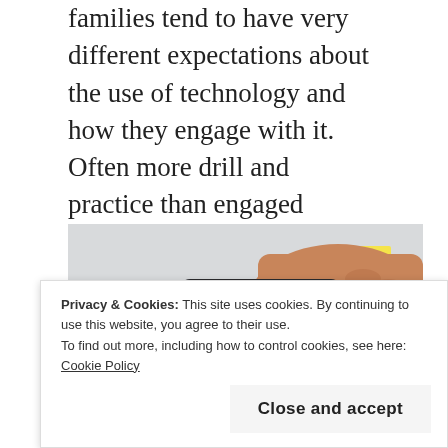families tend to have very different expectations about the use of technology and how they engage with it. Often more drill and practice than engaged thinking.  It's not just that we have access it's how the tech is being used. Watter (2015) noted it's even who is developing it in the first place that affects how tech develops.
[Figure (photo): Hands holding a smartphone with colorful sticky notes on screen and wall in background]
Privacy & Cookies: This site uses cookies. By continuing to use this website, you agree to their use.
To find out more, including how to control cookies, see here: Cookie Policy
Close and accept